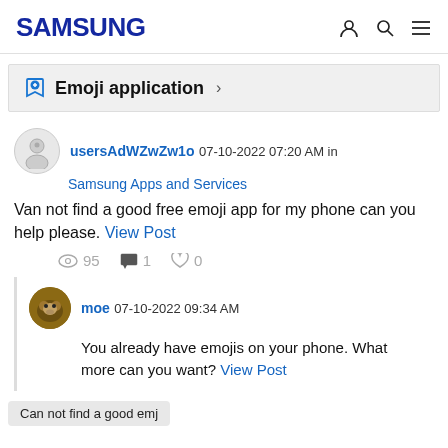SAMSUNG
Emoji application >
usersAdWZwZw1o 07-10-2022 07:20 AM in Samsung Apps and Services
Van not find a good free emoji app for my phone can you help please. View Post
95 views, 1 reply, 0 likes
moe 07-10-2022 09:34 AM
You already have emojis on your phone. What more can you want? View Post
Can not find a good emj